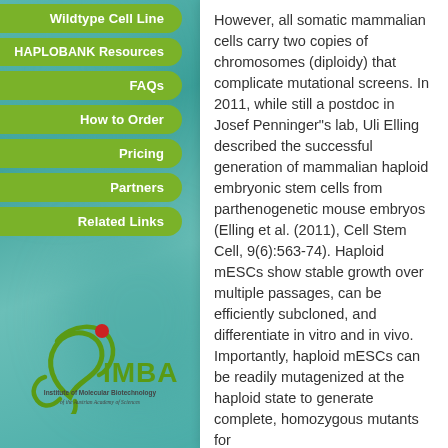Wildtype Cell Line
HAPLOBANK Resources
FAQs
How to Order
Pricing
Partners
Related Links
[Figure (logo): IMBA logo — Institute of Molecular Biotechnology of the Austrian Academy of Sciences]
However, all somatic mammalian cells carry two copies of chromosomes (diploidy) that complicate mutational screens. In 2011, while still a postdoc in Josef Penninger"s lab, Uli Elling described the successful generation of mammalian haploid embryonic stem cells from parthenogenetic mouse embryos (Elling et al. (2011), Cell Stem Cell, 9(6):563-74). Haploid mESCs show stable growth over multiple passages, can be efficiently subcloned, and differentiate in vitro and in vivo. Importantly, haploid mESCs can be readily mutagenized at the haploid state to generate complete, homozygous mutants for